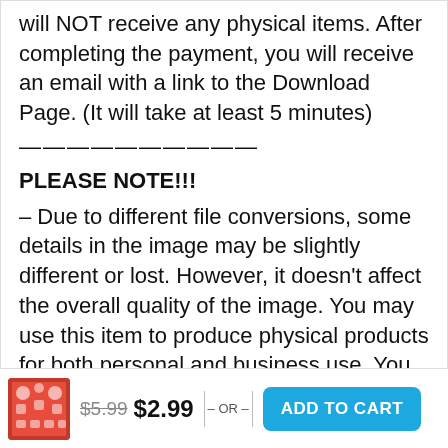will NOT receive any physical items. After completing the payment, you will receive an email with a link to the Download Page. (It will take at least 5 minutes)
——————————
PLEASE NOTE!!!
– Due to different file conversions, some details in the image may be slightly different or lost. However, it doesn't affect the overall quality of the image. You may use this item to produce physical products for both personal and business use. You may not alter, share or resell the digital
$5.99  $2.99  — OR —  ADD TO CART